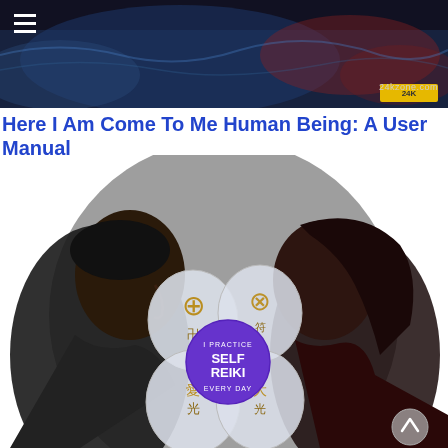24kzone.com
Here I Am Come To Me Human Being: A User Manual
[Figure (illustration): Circular illustration showing a man's profile on the left and a woman's profile on the right facing each other, against a grey circular background. In the center are four translucent stone/crystal shapes with gold Reiki symbols on them, and a purple circular badge in the middle reading 'I PRACTICE SELF REIKI EVERY DAY'.]